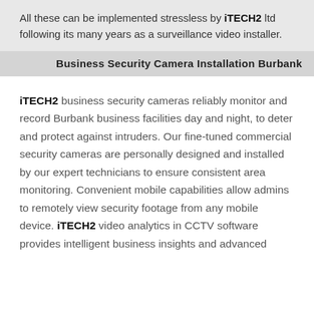All these can be implemented stressless by iTECH2 ltd following its many years as a surveillance video installer.
Business Security Camera Installation Burbank
iTECH2 business security cameras reliably monitor and record Burbank business facilities day and night, to deter and protect against intruders. Our fine-tuned commercial security cameras are personally designed and installed by our expert technicians to ensure consistent area monitoring. Convenient mobile capabilities allow admins to remotely view security footage from any mobile device. iTECH2 video analytics in CCTV software provides intelligent business insights and advanced